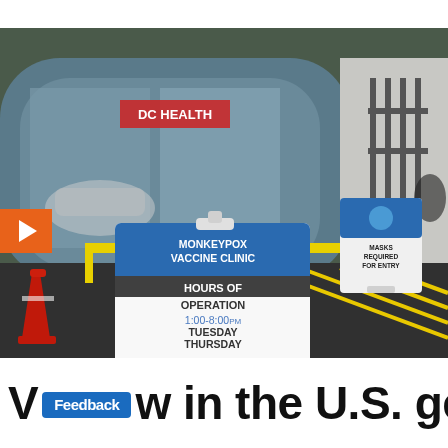[Figure (photo): Outdoor photo of a monkeypox vaccine clinic with a sandwich board sign in the foreground reading 'MONKEYPOX VACCINE CLINIC — HOURS OF OPERATION — 1:00-8:00PM — TUESDAY THURSDAY SUNDAY'. A yellow railing and yellow parking lot lines are visible. A second sign in the background reads 'MASKS REQUIRED FOR ENTRY'. A building with glass windows and a DC HEALTH sign is visible. A red traffic cone is in the lower-left corner. An orange play button overlay is visible at the bottom-left.]
W in the U.S. getting